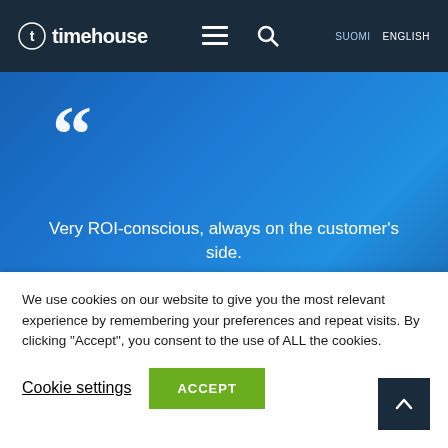timehouse — SUOMI  ENGLISH
[Figure (screenshot): Timehouse website hero section with large quotation marks and text: 'Very ROI-conscious, always on the customer's side.' and partial next section text 'Relaxed and flexible']
Very ROI-conscious, always on the customer's side.
Relaxed and flexible
We use cookies on our website to give you the most relevant experience by remembering your preferences and repeat visits. By clicking "Accept", you consent to the use of ALL the cookies.
Cookie settings  ACCEPT